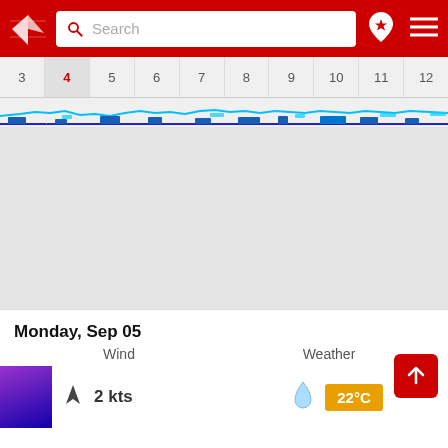[Figure (screenshot): Mobile app header with red background, logo (white arrow/compass icon), search box with 'Search' placeholder, location pin icon with star, and hamburger menu icon]
[Figure (continuous-plot): Horizontal timeline strip showing day numbers 3, 4 (highlighted/active), 5, 6, 7, 8, 9, 10, 11, 12 with wave/wind chart below showing blue and cyan waveform data across the days]
[Figure (other): Grey empty content area occupying most of the screen]
Monday, Sep 05
Wind
Weather
2 kts
22°C